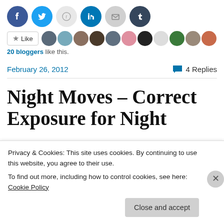[Figure (other): Social share icons row: Facebook (blue circle), Twitter (cyan circle), Reddit (light grey circle), LinkedIn (blue circle), Email (grey circle), Tumblr (dark navy circle)]
[Figure (other): Like button with star icon and a row of blogger avatar thumbnails]
20 bloggers like this.
February 26, 2012
4 Replies
Night Moves – Correct Exposure for Night
Privacy & Cookies: This site uses cookies. By continuing to use this website, you agree to their use.
To find out more, including how to control cookies, see here: Cookie Policy
Close and accept